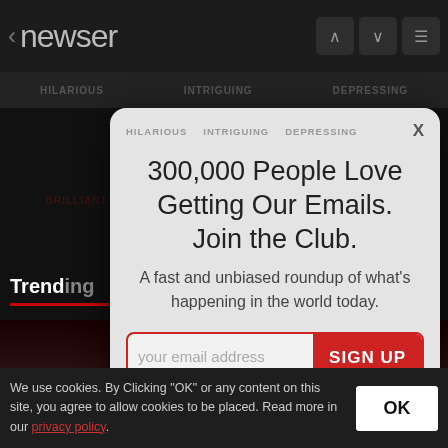< newser
[Figure (screenshot): Newser mobile app screenshot with navigation bar showing back arrow, 'newser' logo, up/down arrows and menu icon]
300,000 People Love Getting Our Emails. Join the Club.
A fast and unbiased roundup of what's happening in the world today.
your email address
SIGN UP
Trending
We use cookies. By Clicking "OK" or any content on this site, you agree to allow cookies to be placed. Read more in our privacy policy.
OK